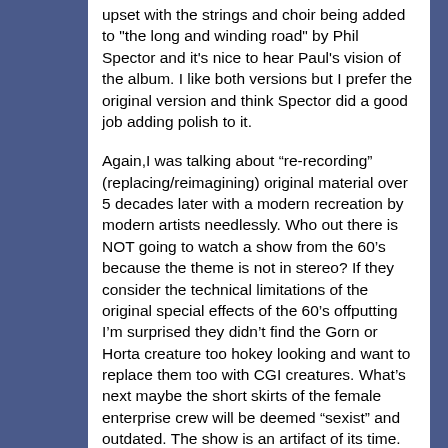upset with the strings and choir being added to "the long and winding road" by Phil Spector and it's nice to hear Paul's vision of the album. I like both versions but I prefer the original version and think Spector did a good job adding polish to it.
Again,I was talking about “re-recording” (replacing/reimagining) original material over 5 decades later with a modern recreation by modern artists needlessly. Who out there is NOT going to watch a show from the 60’s because the theme is not in stereo? If they consider the technical limitations of the original special effects of the 60’s offputting I’m surprised they didn’t find the Gorn or Horta creature too hokey looking and want to replace them too with CGI creatures. What’s next maybe the short skirts of the female enterprise crew will be deemed “sexist” and outdated. The show is an artifact of its time. Personally I love the show as it was.